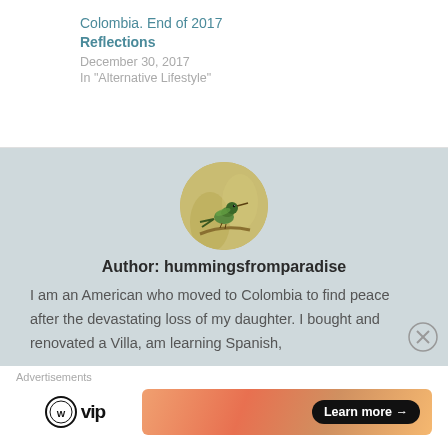Colombia. End of 2017 Reflections
December 30, 2017
In "Alternative Lifestyle"
[Figure (photo): Circular avatar photo of a hummingbird perched on a branch against a golden/blurred background]
Author: hummingsfromparadise
I am an American who moved to Colombia to find peace after the devastating loss of my daughter. I bought and renovated a Villa, am learning Spanish,
Advertisements
[Figure (logo): WordPress VIP logo with WordPress circle icon and 'vip' text]
[Figure (other): Advertisement banner with gradient orange/pink background and 'Learn more →' button in black pill shape]